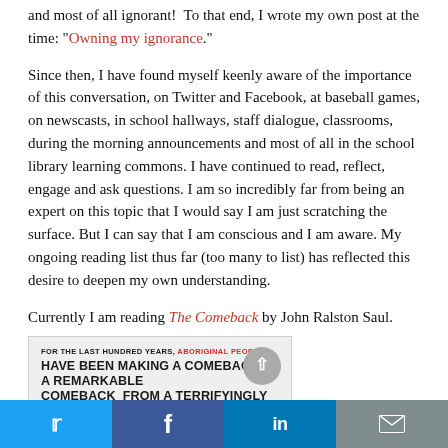and most of all ignorant! To that end, I wrote my own post at the time: "Owning my ignorance."
Since then, I have found myself keenly aware of the importance of this conversation, on Twitter and Facebook, at baseball games, on newscasts, in school hallways, staff dialogue, classrooms, during the morning announcements and most of all in the school library learning commons. I have continued to read, reflect, engage and ask questions. I am so incredibly far from being an expert on this topic that I would say I am just scratching the surface. But I can say that I am conscious and I am aware. My ongoing reading list thus far (too many to list) has reflected this desire to deepen my own understanding.
Currently I am reading The Comeback by John Ralston Saul.
[Figure (photo): Book cover image for 'The Comeback' by John Ralston Saul, showing text: FOR THE LAST HUNDRED YEARS, ABORIGINAL PEOPLES HAVE BEEN MAKING A COMEBACK – A REMARKABLE COMEBACK FROM A TERRIFYINGLY LOW POINT OF POPULATION, OF LEGAL RESPECT]
Social share buttons: Twitter, Facebook, LinkedIn, Email